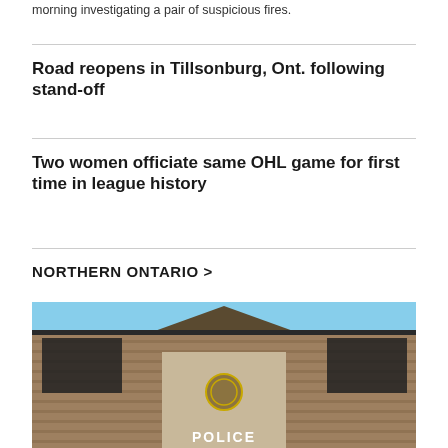morning investigating a pair of suspicious fires.
Road reopens in Tillsonburg, Ont. following stand-off
Two women officiate same OHL game for first time in league history
NORTHERN ONTARIO >
[Figure (photo): Exterior photo of a brick police station building with a sign reading POLICE, blue sky visible at top]